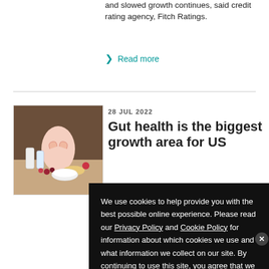and slowed growth continues, said credit rating agency, Fitch Ratings.
❯ Read more
28 JUL 2022
Gut health is the biggest growth area for US
[Figure (photo): Person making a heart shape with hands over stomach, with dairy/food products visible on a table]
h area nds in ed by er- its and for US
We use cookies to help provide you with the best possible online experience. Please read our Privacy Policy and Cookie Policy for information about which cookies we use and what information we collect on our site. By continuing to use this site, you agree that we may store and access cookies on your device.
I AGREE